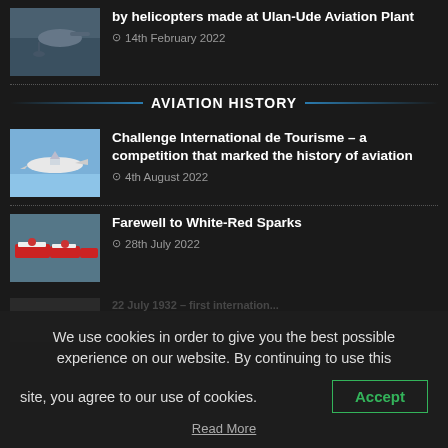[Figure (photo): Helicopter photo thumbnail]
by helicopters made at Ulan-Ude Aviation Plant
14th February 2022
AVIATION HISTORY
[Figure (photo): Aircraft in flight thumbnail]
Challenge International de Tourisme – a competition that marked the history of aviation
4th August 2022
[Figure (photo): Red and white aircraft thumbnail]
Farewell to White-Red Sparks
28th July 2022
We use cookies in order to give you the best possible experience on our website. By continuing to use this site, you agree to our use of cookies.
Accept
Read More